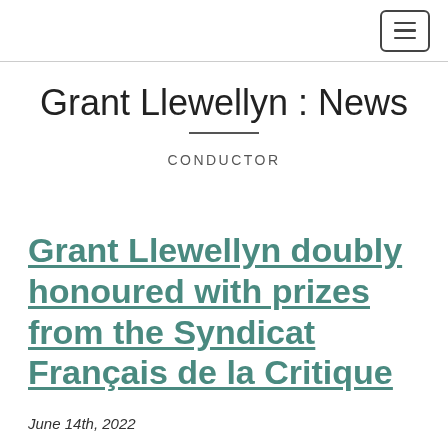≡
Grant Llewellyn : News
CONDUCTOR
Grant Llewellyn doubly honoured with prizes from the Syndicat Français de la Critique
June 14th, 2022